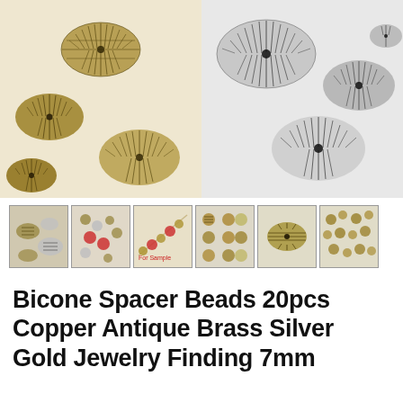[Figure (photo): Two product photos side by side: left shows antique brass/bronze ribbed bicone spacer beads on white background; right shows antique silver ribbed bicone spacer beads on white background]
[Figure (photo): Row of six thumbnail images showing various bicone spacer bead color variants and usage examples]
Bicone Spacer Beads 20pcs Copper Antique Brass Silver Gold Jewelry Finding 7mm